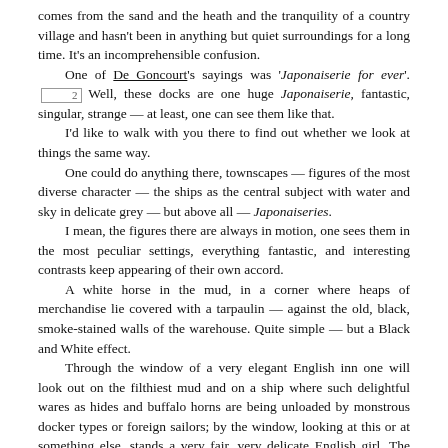comes from the sand and the heath and the tranquility of a country village and hasn't been in anything but quiet surroundings for a long time. It's an incomprehensible confusion.
    One of De Goncourt's sayings was 'Japonaiserie for ever'. [2] Well, these docks are one huge Japonaiserie, fantastic, singular, strange — at least, one can see them like that.
    I'd like to walk with you there to find out whether we look at things the same way.
    One could do anything there, townscapes — figures of the most diverse character — the ships as the central subject with water and sky in delicate grey — but above all — Japonaiseries.
    I mean, the figures there are always in motion, one sees them in the most peculiar settings, everything fantastic, and interesting contrasts keep appearing of their own accord.
    A white horse in the mud, in a corner where heaps of merchandise lie covered with a tarpaulin — against the old, black, smoke-stained walls of the warehouse. Quite simple — but a Black and White effect.
    Through the window of a very elegant English inn one will look out on the filthiest mud and on a ship where such delightful wares as hides and buffalo horns are being unloaded by monstrous docker types or foreign sailors; by the window, looking at this or at something else, stands a very fair, very delicate English girl. The interior with figure wholly in tone, and for light — the silvery sky